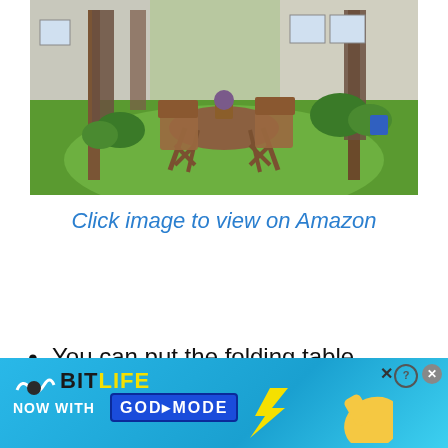[Figure (photo): Outdoor garden scene with a wooden table and chairs under a gazebo with curtains, on a green lawn, with a house in the background. A potted purple flower sits on the table.]
Click image to view on Amazon
You can put the folding table under the 8 legs for less floor
[Figure (photo): BitLife advertisement banner: 'NOW WITH GOD MODE' on a blue background with hand/thumb graphics and the BitLife logo.]